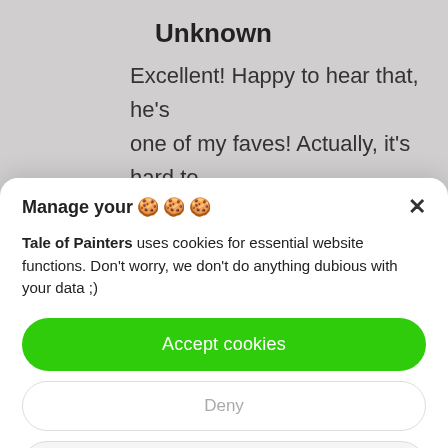Unknown
Excellent! Happy to hear that, he's one of my faves! Actually, it's hard to say with all the talent that gets
Manage your 🍪🍪🍪
Tale of Painters uses cookies for essential website functions. Don't worry, we don't do anything dubious with your data ;)
Accept cookies
Deny
View preferences